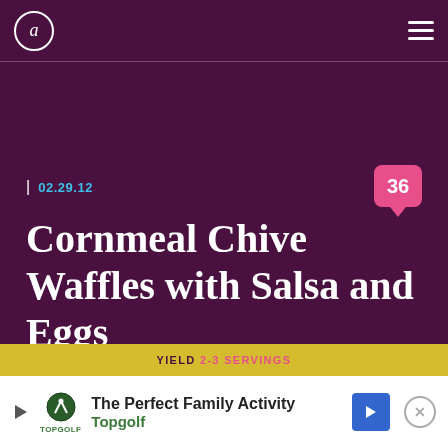a [logo] | hamburger menu
| 02.29.12
Cornmeal Chive Waffles with Salsa and Eggs
36 [comment badge]
YIELD 2-3 SERVINGS
[Figure (other): Advertisement banner: The Perfect Family Activity - Topgolf, with play button, Topgolf logo, navigation arrow, and close button]